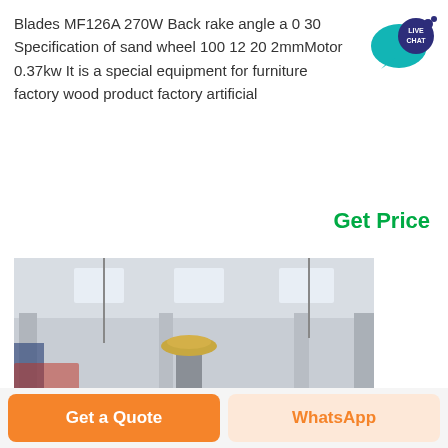Blades MF126A 270W Back rake angle a 0 30 Specification of sand wheel 100 12 20 2mmMotor 0.37kw It is a special equipment for furniture factory wood product factory artificial
[Figure (illustration): Live Chat speech bubble badge in teal/dark blue colors with text LIVE CHAT]
Get Price
[Figure (photo): Factory floor interior showing large industrial machinery, circular gear/grinding equipment, overhead cranes, concrete columns, and industrial lighting]
Get a Quote
WhatsApp